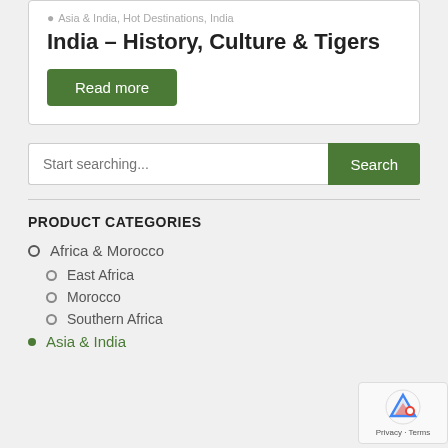Asia & India, Hot Destinations, India
India – History, Culture & Tigers
Read more
Start searching...
PRODUCT CATEGORIES
Africa & Morocco
East Africa
Morocco
Southern Africa
Asia & India